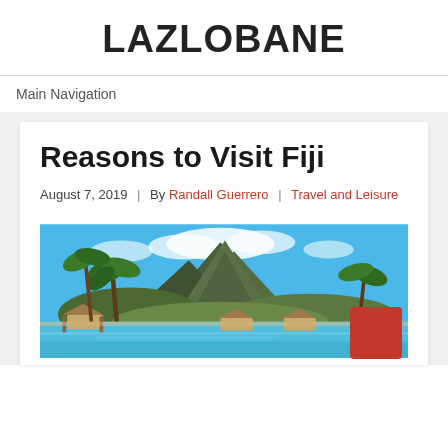LAZLOBANE
Main Navigation
Reasons to Visit Fiji
August 7, 2019  |  By Randall Guerrero  |  Travel and Leisure
[Figure (photo): Tropical island scene with palm trees, overwater bungalows, turquoise water, and a dramatic mountain peak under a blue sky — a Fiji or Bora Bora landscape.]